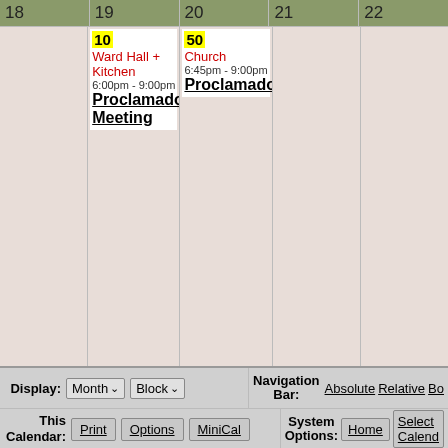| 18 | 19 | 20 | 21 | 22 |
| --- | --- | --- | --- | --- |
|  | 10 Ward Hall + Kitchen
6:00pm - 9:00pm
Proclamadores Meeting | 50 Church
6:45pm - 9:00pm
Proclamadores |  |  |
| 25 | 26 | 27 | 28 | 29 |
|  |  | 50 Church
6:45pm - 9:00pm
Proclamadores |  | 25 Ch...
10:...
11:...
Fu...
BR... |
Display: Month Block
Navigation Bar: Absolute Relative Bo...
This Calendar: Print Options MiniCal
System Options: Home Select Calend...